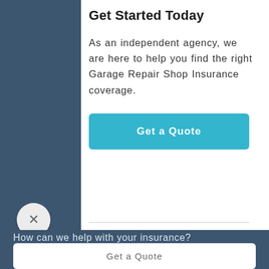Get Started Today
As an independent agency, we are here to help you find the right Garage Repair Shop Insurance coverage.
[Figure (other): Teal 'Get a Quote' call-to-action button]
[Figure (other): Close (X) circular button overlay on dark blue background]
How can we help with your insurance?
[Figure (other): White 'Get a Quote' button in bottom chat panel]
[Figure (other): Dark blue '24/7 Client Center' button in bottom chat panel]